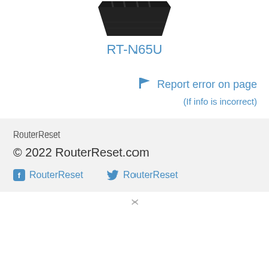[Figure (photo): Partial image of an ASUS RT-N65U router, showing the top portion of the device in dark color]
RT-N65U
🏳 Report error on page
(If info is incorrect)
RouterReset
© 2022 RouterReset.com
RouterReset  RouterReset